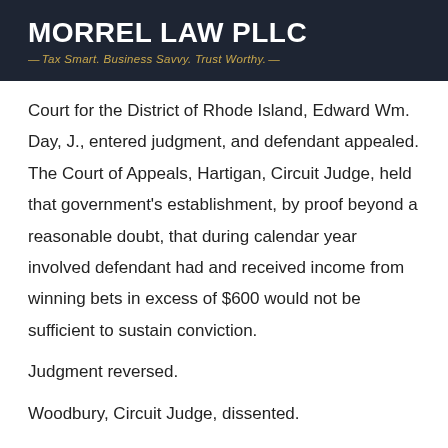MORREL LAW PLLC — Tax Smart. Business Savvy. Trust Worthy. —
Court for the District of Rhode Island, Edward Wm. Day, J., entered judgment, and defendant appealed. The Court of Appeals, Hartigan, Circuit Judge, held that government's establishment, by proof beyond a reasonable doubt, that during calendar year involved defendant had and received income from winning bets in excess of $600 would not be sufficient to sustain conviction.
Judgment reversed.
Woodbury, Circuit Judge, dissented.